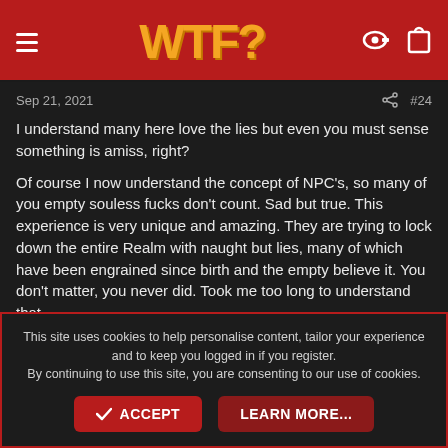WTF?
Sep 21, 2021  #24
I understand many here love the lies but even you must sense something is amiss, right?

Of course I now understand the concept of NPC's, so many of you empty souless fucks don't count. Sad but true. This experience is very unique and amazing. They are trying to lock down the entire Realm with naught but lies, many of which have been engrained since birth and the empty believe it. You don't matter, you never did. Took me too long to understand that.

The only people who are real reject the lies. We are many and we
This site uses cookies to help personalise content, tailor your experience and to keep you logged in if you register.
By continuing to use this site, you are consenting to our use of cookies.